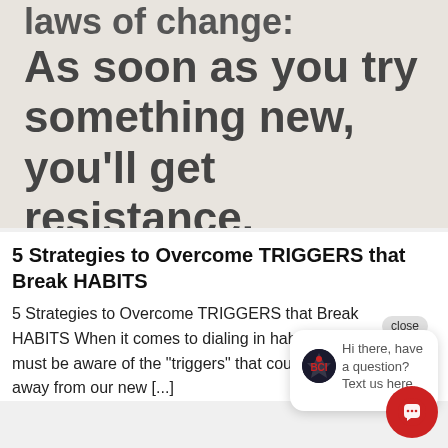[Figure (photo): Photograph of a printed page showing large bold text: 'laws of change: As soon as you try something new, you'll get resistance.']
5 Strategies to Overcome TRIGGERS that Break HABITS
5 Strategies to Overcome TRIGGERS that Break HABITS When it comes to dialing in habits we must be aware of the "triggers" that could pull away from our new [...]